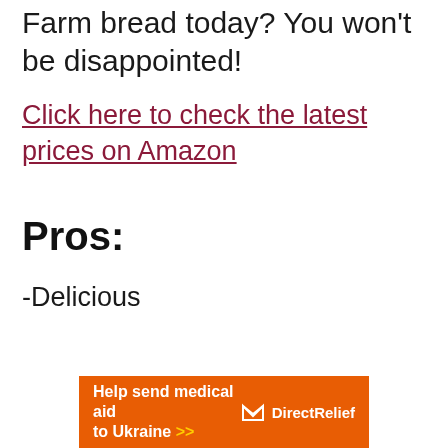Farm bread today? You won't be disappointed!
Click here to check the latest prices on Amazon
Pros:
-Delicious
[Figure (infographic): Orange advertisement banner reading 'Help send medical aid to Ukraine >>' with Direct Relief logo on right side]